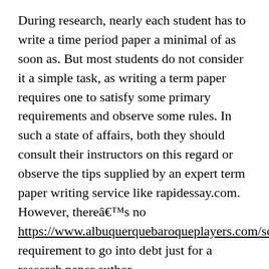During research, nearly each student has to write a time period paper a minimal of as soon as. But most students do not consider it a simple task, as writing a term paper requires one to satisfy some primary requirements and observe some rules. In such a state of affairs, both they should consult their instructors on this regard or observe the tips supplied by an expert term paper writing service like rapidessay.com. However, thereâs no https://www.albuquerquebaroqueplayers.com/sched.htm requirement to go into debt just for a research paper author.
We have many reviews on our site, so be at liberty to check them out. Weâll ship you the excerpts of three papers completed by your author, and you will decide whether you want their writing style. If not, then you'll find a way to ask us to assign you one other expert.